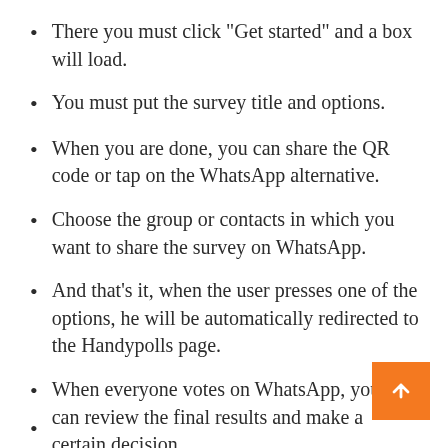There you must click “Get started” and a box will load.
You must put the survey title and options.
When you are done, you can share the QR code or tap on the WhatsApp alternative.
Choose the group or contacts in which you want to share the survey on WhatsApp.
And that’s it, when the user presses one of the options, he will be automatically redirected to the Handypolls page.
When everyone votes on WhatsApp, you can review the final results and make a certain decision.
(partial bullet visible at bottom)